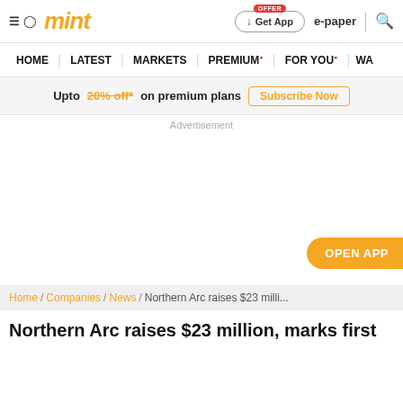mint — Get App | e-paper | search
HOME | LATEST | MARKETS | PREMIUM | FOR YOU | WA...
Upto 20% off* on premium plans — Subscribe Now
Advertisement
OPEN APP
Home / Companies / News / Northern Arc raises $23 milli...
Northern Arc raises $23 million, marks first